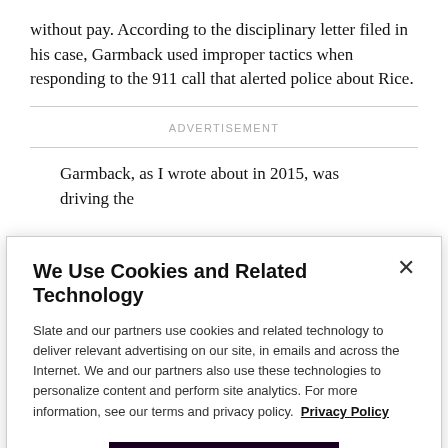without pay. According to the disciplinary letter filed in his case, Garmback used improper tactics when responding to the 911 call that alerted police about Rice.
ADVERTISEMENT
Garmback, as I wrote about in 2015, was driving the
We Use Cookies and Related Technology
Slate and our partners use cookies and related technology to deliver relevant advertising on our site, in emails and across the Internet. We and our partners also use these technologies to personalize content and perform site analytics. For more information, see our terms and privacy policy. Privacy Policy
OK